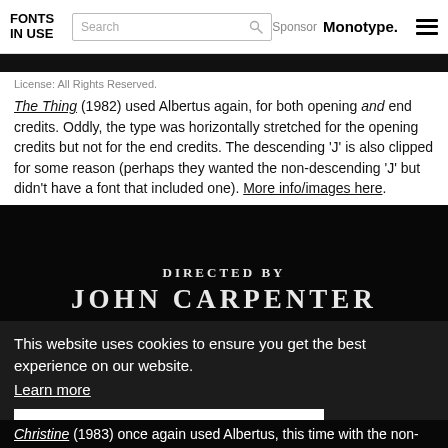FONTS IN USE — Search — Sponsor Monotype.
[Figure (photo): Black horizontal image strip, partial view of movie credits]
License: All Rights Reserved.
The Thing (1982) used Albertus again, for both opening and end credits. Oddly, the type was horizontally stretched for the opening credits but not for the end credits. The descending 'J' is also clipped for some reason (perhaps they wanted the non-descending 'J' but didn't have a font that included one). More info/images here.
[Figure (photo): Dark/black movie still showing white text 'DIRECTED BY JOHN CARPENTER' in decorative serif font]
This website uses cookies to ensure you get the best experience on our website.
Learn more
Got it!
Christine (1983) once again used Albertus, this time with the non-